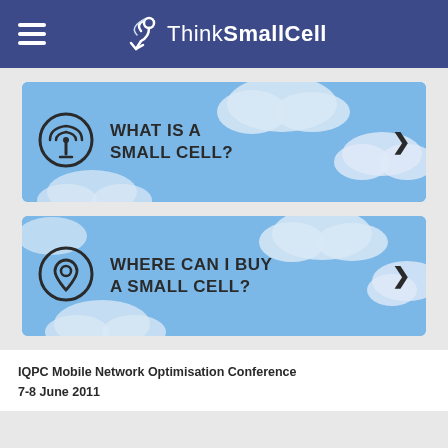ThinkSmallCell
[Figure (illustration): Card with sky/clouds background, wifi/antenna icon, text WHAT IS A SMALL CELL? and right arrow]
[Figure (illustration): Card with sky/clouds background, location pin icon, text WHERE CAN I BUY A SMALL CELL? and right arrow]
IQPC Mobile Network Optimisation Conference 7-8 June 2011